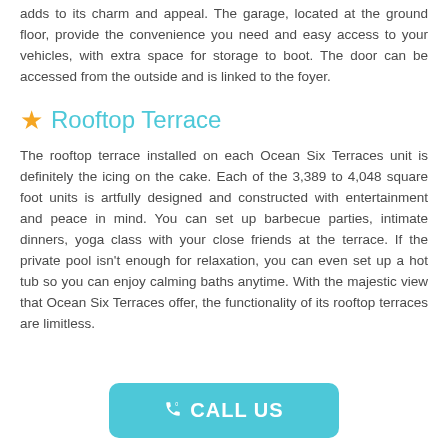adds to its charm and appeal. The garage, located at the ground floor, provide the convenience you need and easy access to your vehicles, with extra space for storage to boot. The door can be accessed from the outside and is linked to the foyer.
★ Rooftop Terrace
The rooftop terrace installed on each Ocean Six Terraces unit is definitely the icing on the cake. Each of the 3,389 to 4,048 square foot units is artfully designed and constructed with entertainment and peace in mind. You can set up barbecue parties, intimate dinners, yoga class with your close friends at the terrace. If the private pool isn't enough for relaxation, you can even set up a hot tub so you can enjoy calming baths anytime. With the majestic view that Ocean Six Terraces offer, the functionality of its rooftop terraces are limitless.
CALL US